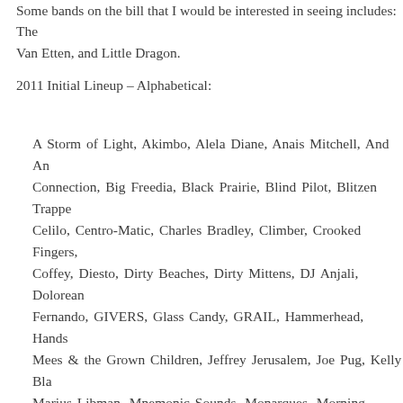Some bands on the bill that I would be interested in seeing includes: The Van Etten, and Little Dragon.
2011 Initial Lineup – Alphabetical:
A Storm of Light, Akimbo, Alela Diane, Anais Mitchell, And An Connection, Big Freedia, Black Prairie, Blind Pilot, Blitzen Trappe Celilo, Centro-Matic, Charles Bradley, Climber, Crooked Fingers, Coffey, Diesto, Dirty Beaches, Dirty Mittens, DJ Anjali, Dolorean Fernando, GIVERS, Glass Candy, GRAIL, Hammerhead, Hands Mees & the Grown Children, Jeffrey Jerusalem, Joe Pug, Kelly Bla Marius Libman, Mnemonic Sounds, Monarques, Morning Teleport Operative, Phantogram, Pierced Arrows, Pig Destroyer, Portland Reporter, Rhett Miller, Richmond Fontaine, RTX, Sean Flinn & th Talkdemonic, Ted Leo, Tennis, The Angry Orts, The Antlers, Th Incredible Kid, The Joy Formidable, The Kills, The Ladybug Tran The Soft Moon, The Thermals, The Vaccines, The Wizard Rif Typhoon, UME, Unknown Mortal Orchestra, Violet Isle, Viva Voc You Am I, Zuzuka Poderosa